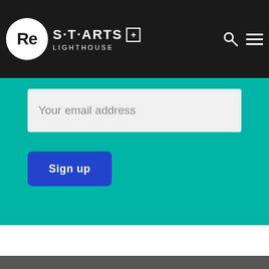Re S·T·ARTS + LIGHTHOUSE
Your email address
Sign up